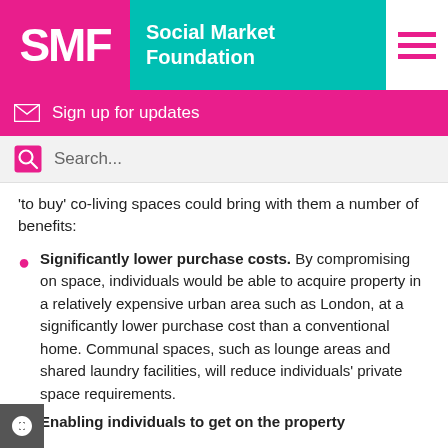SMF Social Market Foundation
Sign up for updates
Search...
'to buy' co-living spaces could bring with them a number of benefits:
Significantly lower purchase costs. By compromising on space, individuals would be able to acquire property in a relatively expensive urban area such as London, at a significantly lower purchase cost than a conventional home. Communal spaces, such as lounge areas and shared laundry facilities, will reduce individuals' private space requirements.
Enabling individuals to get on the property